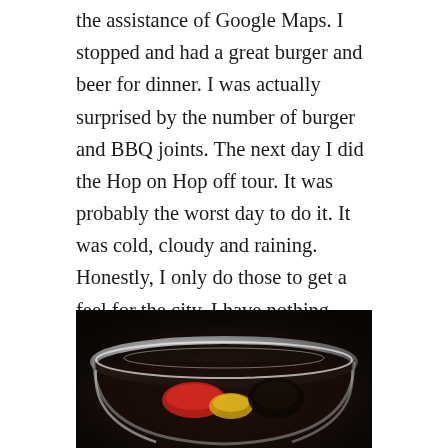the assistance of Google Maps. I stopped and had a great burger and beer for dinner. I was actually surprised by the number of burger and BBQ joints. The next day I did the Hop on Hop off tour. It was probably the worst day to do it. It was cold, cloudy and raining. Honestly, I only do those to get a feel for the city. I have nothing good to say about the tour. What I did find was several Christmas market and mulled wine. I also had my first and last langos with cheese and sour cream. While it was good, something about the combination turned me off. So I just got more mulled wine. I seemed to be pretty drained, so I was sleep by 6 PM.
[Figure (photo): A dark photograph showing a chrome or metallic bowl/dish with what appears to be colorful items (red and yellow) inside, shot against a dark background.]